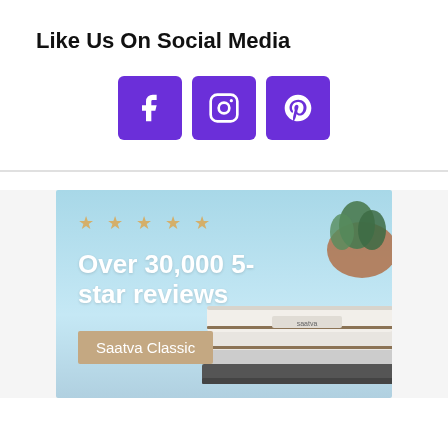Like Us On Social Media
[Figure (infographic): Three purple social media icon buttons: Facebook (f), Instagram (camera), Pinterest (p)]
[Figure (photo): Advertisement banner for Saatva Classic mattress showing a mattress on a sunny outdoor terrace with blue sky background, five gold stars, text 'Over 30,000 5-star reviews' in white, and a tan button labeled 'Saatva Classic']